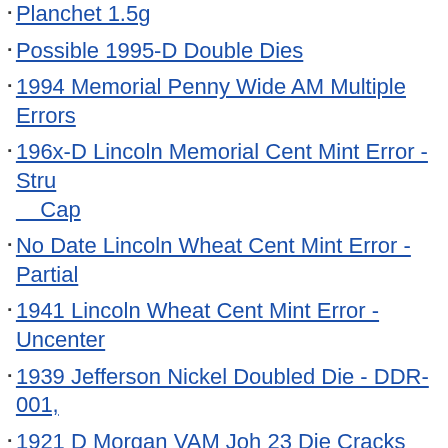1995 Lincoln Memorial Cent Mint Error - Struck on Wrong Planchet 1.5g
Possible 1995-D Double Dies
1994 Memorial Penny Wide AM Multiple Errors
196x-D Lincoln Memorial Cent Mint Error - Struck Through Grease Cap
No Date Lincoln Wheat Cent Mint Error - Partial
1941 Lincoln Wheat Cent Mint Error - Uncentered
1939 Jefferson Nickel Doubled Die - DDR-001,
1921 D Morgan VAM Joh 23 Die Cracks
Another Seller Of Chinese Fakes
1983 P Half Dollar No FG?
1822 Capped Bust Half Dollar R6?
Questionable 1988 Penny